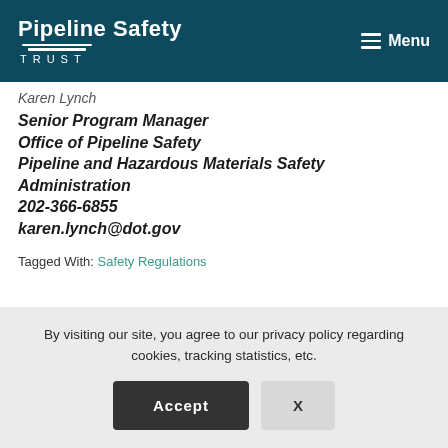Pipeline Safety Trust | Menu
Karen Lynch
Senior Program Manager
Office of Pipeline Safety
Pipeline and Hazardous Materials Safety Administration
202-366-6855
karen.lynch@dot.gov
Tagged With: Safety Regulations
By visiting our site, you agree to our privacy policy regarding cookies, tracking statistics, etc.